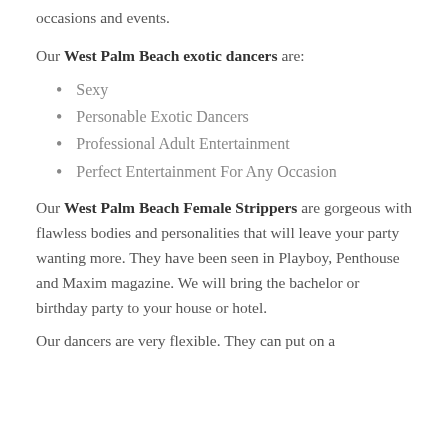occasions and events.
Our West Palm Beach exotic dancers are:
Sexy
Personable Exotic Dancers
Professional Adult Entertainment
Perfect Entertainment For Any Occasion
Our West Palm Beach Female Strippers are gorgeous with flawless bodies and personalities that will leave your party wanting more. They have been seen in Playboy, Penthouse and Maxim magazine. We will bring the bachelor or birthday party to your house or hotel.
Our dancers are very flexible. They can put on a